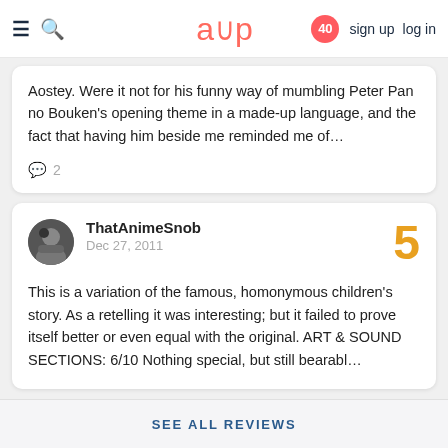aup  40  sign up  log in
Aostey. Were it not for his funny way of mumbling Peter Pan no Bouken's opening theme in a made-up language, and the fact that having him beside me reminded me of…
💬 2
ThatAnimeSnob
Dec 27, 2011
5
This is a variation of the famous, homonymous children's story. As a retelling it was interesting; but it failed to prove itself better or even equal with the original. ART & SOUND SECTIONS: 6/10 Nothing special, but still bearabl…
SEE ALL REVIEWS